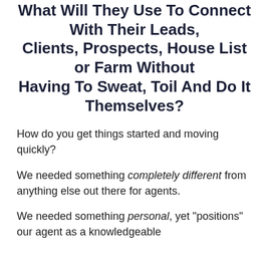What Will They Use To Connect With Their Leads, Clients, Prospects, House List or Farm Without Having To Sweat, Toil And Do It Themselves?
How do you get things started and moving quickly?
We needed something completely different from anything else out there for agents.
We needed something personal, yet "positions" our agent as a knowledgeable